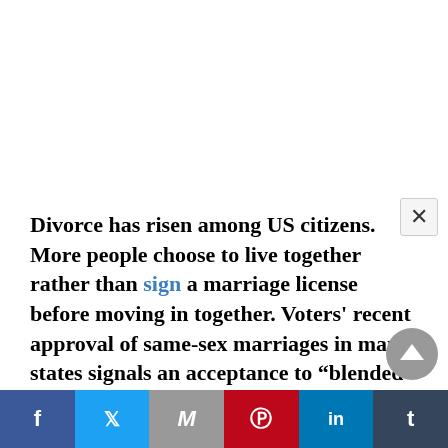Divorce has risen among US citizens. More people choose to live together rather than sign a marriage license before moving in together. Voters' recent approval of same-sex marriages in many states signals an acceptance to “blended” families of both gay and heterosexual people. More and more children continue to be born to single mothers as well.

These changes have resulted in complicated
Facebook | Twitter | Mail | Pinterest | LinkedIn | Tumblr